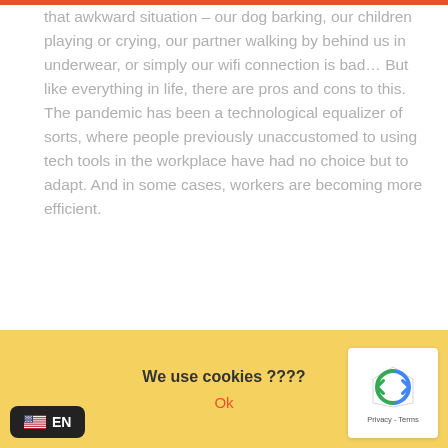that awkward situation – our dog barking, our children playing or crying, our partner walking by behind us in underwear, or simply our wifi connection is bad… But like everything in life, there are pros and cons to this. The pandemic has been a technological equalizer of sorts, where people previously unaccustomed to using tech tools in the workplace have had no choice but to adapt. And in some cases, workers are becoming more efficient.
So, now what? we believe that is the perfect time
[Figure (screenshot): Cookie consent banner with yellow background, displaying 'We use cookies ????' text, an 'Ok' button in orange, a language selector showing EN with US flag on dark background, and a reCAPTCHA badge.]